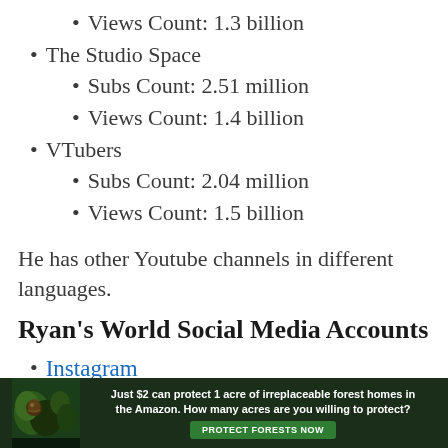Views Count: 1.3 billion
The Studio Space
Subs Count: 2.51 million
Views Count: 1.4 billion
VTubers
Subs Count: 2.04 million
Views Count: 1.5 billion
He has other Youtube channels in different languages.
Ryan's World Social Media Accounts
Instagram
[Figure (infographic): Advertisement banner: dark forest background with bird/wildlife photo on left. Text reads: 'Just $2 can protect 1 acre of irreplaceable forest homes in the Amazon. How many acres are you willing to protect?' with a green 'PROTECT FORESTS NOW' button.]